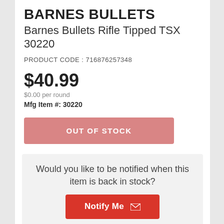BARNES BULLETS
Barnes Bullets Rifle Tipped TSX 30220
PRODUCT CODE : 716876257348
$40.99
$0.00 per round
Mfg Item #: 30220
OUT OF STOCK
Would you like to be notified when this item is back in stock?
Notify Me